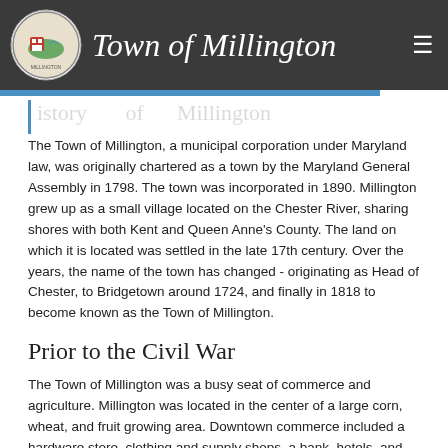Town of Millington
The Town of Millington, a municipal corporation under Maryland law, was originally chartered as a town by the Maryland General Assembly in 1798. The town was incorporated in 1890. Millington grew up as a small village located on the Chester River, sharing shores with both Kent and Queen Anne's County. The land on which it is located was settled in the late 17th century. Over the years, the name of the town has changed - originating as Head of Chester, to Bridgetown around 1724, and finally in 1818 to become known as the Town of Millington.
Prior to the Civil War
The Town of Millington was a busy seat of commerce and agriculture. Millington was located in the center of a large corn, wheat, and fruit growing area. Downtown commerce included a hardware store, clothing and supply shops, a bank, hotels, and mills. In the late 1860s, the railroad was constructed connecting Wilmington and Philadelphia to Millington and points further south. The Kent and Queen Anne's Railroad enabled Millington to become